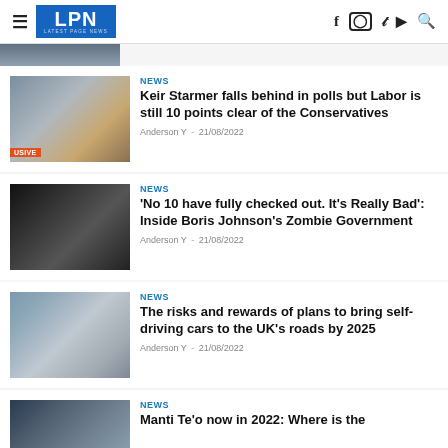LPN LATEST PAGE NEWS
[Figure (photo): Top partial image strip]
NEWS
Keir Starmer falls behind in polls but Labor is still 10 points clear of the Conservatives
Anderson Y · 21/08/2022
[Figure (photo): Photo of Keir Starmer, USIVE label]
NEWS
'No 10 have fully checked out. It's Really Bad': Inside Boris Johnson's Zombie Government
Anderson Y · 21/08/2022
[Figure (photo): Silhouette of Boris Johnson against dark background]
NEWS
The risks and rewards of plans to bring self-driving cars to the UK's roads by 2025
Anderson Y · 21/08/2022
[Figure (photo): Motorway traffic aerial view]
NEWS
Manti Te'o now in 2022: Where is the
[Figure (photo): Manti Te'o photo]